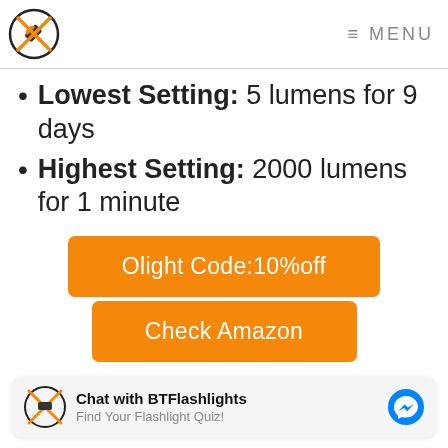BTFlashlights logo | MENU
Lowest Setting: 5 lumens for 9 days
Highest Setting: 2000 lumens for 1 minute
[Figure (other): Orange button: Olight Code:10%off]
[Figure (other): Orange button: Check Amazon]
Chat with BTFlashlights | Find Your Flashlight Quiz!